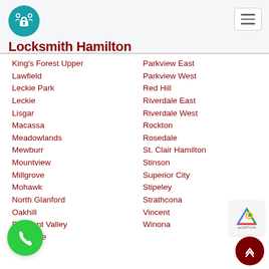Locksmith Hamilton
King's Forest Upper
Lawfield
Leckie Park
Leckie
Lisgar
Macassa
Meadowlands
Mewburr
Mountview
Millgrove
Mohawk
North Glanford
Oakhill
Pleasant Valley
Rosedale
Parkview East
Parkview West
Red Hill
Riverdale East
Riverdale West
Rockton
Rosedale
St. Clair Hamilton
Stinson
Superior City
Stipeley
Strathcona
Vincent
Winona